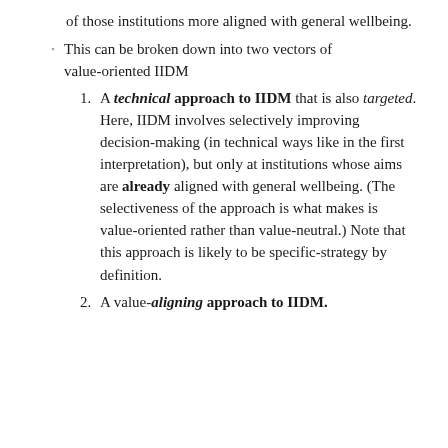of those institutions more aligned with general wellbeing.
This can be broken down into two vectors of value-oriented IIDM
1. A technical approach to IIDM that is also targeted. Here, IIDM involves selectively improving decision-making (in technical ways like in the first interpretation), but only at institutions whose aims are already aligned with general wellbeing. (The selectiveness of the approach is what makes is value-oriented rather than value-neutral.) Note that this approach is likely to be specific-strategy by definition.
2. A value-aligning approach to IIDM.